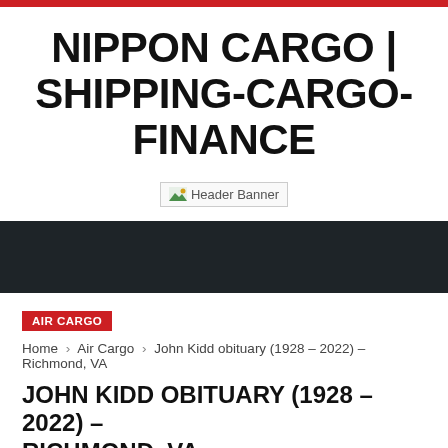NIPPON CARGO | SHIPPING-CARGO-FINANCE
[Figure (other): Header Banner image placeholder]
AIR CARGO
Home › Air Cargo › John Kidd obituary (1928 – 2022) – Richmond, VA
JOHN KIDD OBITUARY (1928 – 2022) – RICHMOND, VA